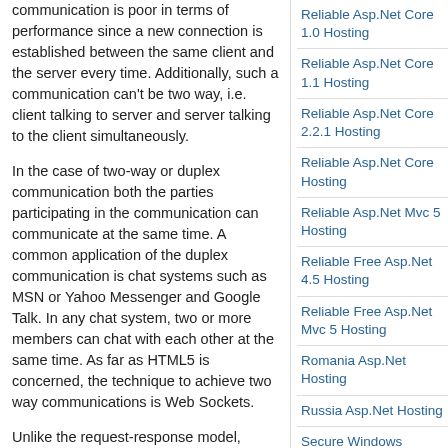communication is poor in terms of performance since a new connection is established between the same client and the server every time. Additionally, such a communication can't be two way, i.e. client talking to server and server talking to the client simultaneously.
In the case of two-way or duplex communication both the parties participating in the communication can communicate at the same time. A common application of the duplex communication is chat systems such as MSN or Yahoo Messenger and Google Talk. In any chat system, two or more members can chat with each other at the same time. As far as HTML5 is concerned, the technique to achieve two way communications is Web Sockets.
Unlike the request-response model, WebSockets keep the underlying communication channel open throughout the course of communication. A WebSocket based communication typically involves three steps:
- Establishing a connection between the client and the server or Hand Shake.
- Asking the Web Socket server to listen to
Reliable Asp.Net Core 1.0 Hosting
Reliable Asp.Net Core 1.1 Hosting
Reliable Asp.Net Core 2.2.1 Hosting
Reliable Asp.Net Core Hosting
Reliable Asp.Net Mvc 5 Hosting
Reliable Free Asp.Net 4.5 Hosting
Reliable Free Asp.Net Mvc 5 Hosting
Romania Asp.Net Hosting
Russia Asp.Net Hosting
Secure Windows